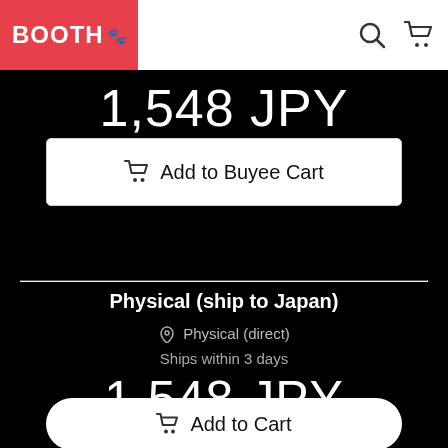BOOTH
1,548 JPY
Add to Buyee Cart
Physical (ship to Japan)
Physical (direct)
Ships within 3 days
1,548 JPY
Add to Cart